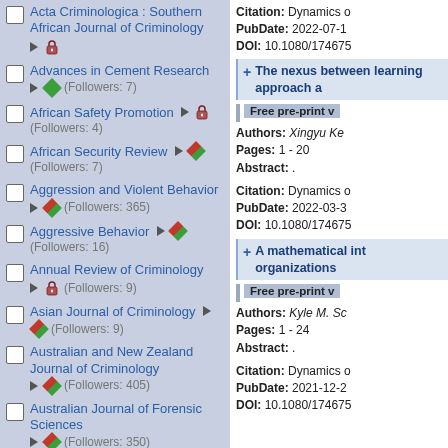Acta Criminologica : Southern African Journal of Criminology
Advances in Cement Research (Followers: 7)
African Safety Promotion (Followers: 4)
African Security Review (Followers: 7)
Aggression and Violent Behavior (Followers: 365)
Aggressive Behavior (Followers: 16)
Annual Review of Criminology (Followers: 9)
Asian Journal of Criminology (Followers: 9)
Australian and New Zealand Journal of Criminology (Followers: 405)
Australian Journal of Forensic Sciences (Followers: 350)
Biometric Technology Today
Citation: Dynamics o
PubDate: 2022-07-1
DOI: 10.1080/174675
The nexus between learning approach a
Free pre-print v
Authors: Xingyu Ke
Pages: 1 - 20
Abstract: .
Citation: Dynamics o
PubDate: 2022-03-3
DOI: 10.1080/174675
A mathematical int organizations
Free pre-print v
Authors: Kyle M. Sc
Pages: 1 - 24
Abstract: .
Citation: Dynamics o
PubDate: 2021-12-2
DOI: 10.1080/174675